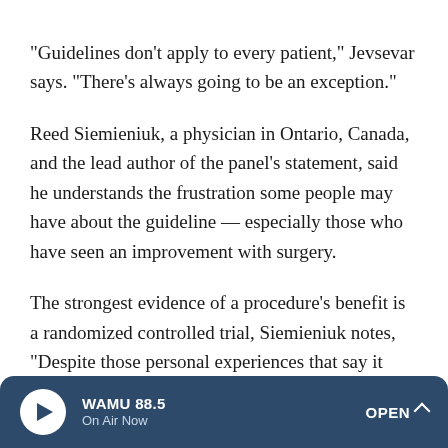"Guidelines don't apply to every patient," Jevsevar says. "There's always going to be an exception."
Reed Siemieniuk, a physician in Ontario, Canada, and the lead author of the panel's statement, said he understands the frustration some people may have about the guideline — especially those who have seen an improvement with surgery.
The strongest evidence of a procedure's benefit is a randomized controlled trial, Siemieniuk notes, "Despite those personal experiences that say it might be doing good, the evidence suggests that it might not be doing any good."
WAMU 88.5 · On Air Now · OPEN